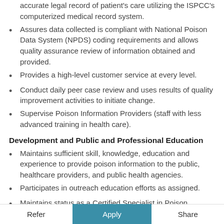accurate legal record of patient's care utilizing the ISPCC's computerized medical record system.
Assures data collected is compliant with National Poison Data System (NPDS) coding requirements and allows quality assurance review of information obtained and provided.
Provides a high-level customer service at every level.
Conduct daily peer case review and uses results of quality improvement activities to initiate change.
Supervise Poison Information Providers (staff with less advanced training in health care).
Development and Public and Professional Education
Maintains sufficient skill, knowledge, education and experience to provide poison information to the public, healthcare providers, and public health agencies.
Participates in outreach education efforts as assigned.
Maintains status as a Certified Specialist in Poison Information (CSPI).
Participates in training of pharmacy, medical or nursing students, as appropriate or assigned.
Writes and edits articles for monthly newsletter.
Refer   Apply   Share